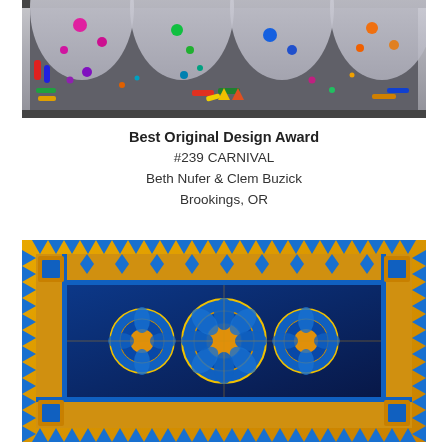[Figure (illustration): Abstract art quilt showing colorful geometric shapes — circles, dots, cylinders, rectangles in vivid colors (red, green, blue, yellow, magenta) floating against a silver/grey metallic background with arc shapes.]
Best Original Design Award
#239 CARNIVAL
Beth Nufer & Clem Buzick
Brookings, OR
[Figure (illustration): Ornate quilt in blue and gold/yellow tones featuring intricate circular medallion patterns, decorative borders with pointed sawtooth edges in blue and gold, and detailed symmetric floral and geometric designs.]